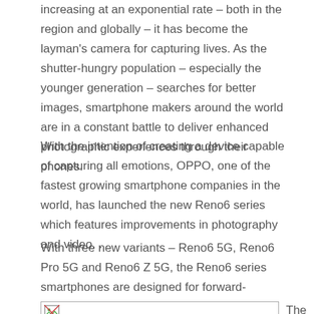increasing at an exponential rate – both in the region and globally – it has become the layman's camera for capturing lives. As the shutter-hungry population – especially the younger generation – searches for better images, smartphone makers around the world are in a constant battle to deliver enhanced photographic experiences through their phones.
With the intention of creating a device capable of capturing all emotions, OPPO, one of the fastest growing smartphone companies in the world, has launched the new Reno6 series which features improvements in photography and video. .
With three new variants – Reno6 5G, Reno6 Pro 5G and Reno6 Z 5G, the Reno6 series smartphones are designed for forward-thinking people, gaming enthusiasts and the next generation.
[Figure (photo): Image placeholder showing broken image icon on the left, with caption text 'The Reno6 specializes in AI' on the right]
The Reno6 specializes in AI